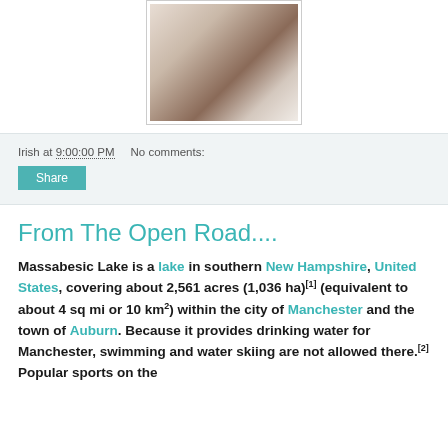[Figure (photo): A person resting on white pillows/sheets, cropped image showing torso and arms.]
Irish at 9:00:00 PM   No comments:
Share
From The Open Road....
Massabesic Lake is a lake in southern New Hampshire, United States, covering about 2,561 acres (1,036 ha)[1] (equivalent to about 4 sq mi or 10 km2) within the city of Manchester and the town of Auburn. Because it provides drinking water for Manchester, swimming and water skiing are not allowed there.[2] Popular sports on the